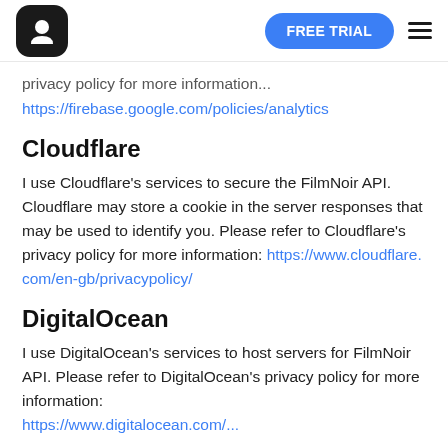FilmNoir logo | FREE TRIAL | menu
privacy policy for more information...
https://firebase.google.com/policies/analytics
Cloudflare
I use Cloudflare's services to secure the FilmNoir API. Cloudflare may store a cookie in the server responses that may be used to identify you. Please refer to Cloudflare's privacy policy for more information: https://www.cloudflare.com/en-gb/privacypolicy/
DigitalOcean
I use DigitalOcean's services to host servers for FilmNoir API. Please refer to DigitalOcean's privacy policy for more information:
https://www.digitalocean.com/...